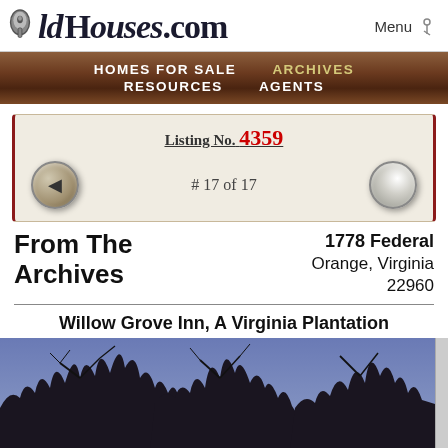OldHouses.com | Menu
HOMES FOR SALE  ARCHIVES  RESOURCES  AGENTS
Listing No. 4359
# 17 of 17
From The Archives
1778 Federal
Orange, Virginia
22960
Willow Grove Inn, A Virginia Plantation
[Figure (photo): Silhouette of tree branches against a blue-purple twilight sky]
Return to Top